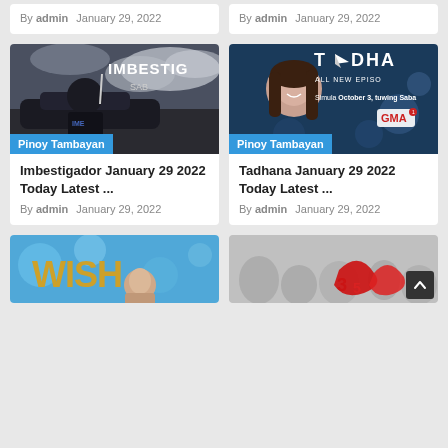By admin    January 29, 2022
By admin    January 29, 2022
[Figure (photo): Imbestigador TV show promotional image with man in black shirt and IMBESTIGADOR text]
Pinoy Tambayan
Imbestigador January 29 2022 Today Latest ...
By admin    January 29, 2022
[Figure (photo): Tadhana GMA TV show promotional image with woman and TADHANA ALL NEW EPISODES text, Simula October 3, tuwing Saba...]
Pinoy Tambayan
Tadhana January 29 2022 Today Latest ...
By admin    January 29, 2022
[Figure (photo): WISH TV show promotional image with golden WISH text and woman]
[Figure (photo): Crowd scene with red decorative element and numbers, gray tones]